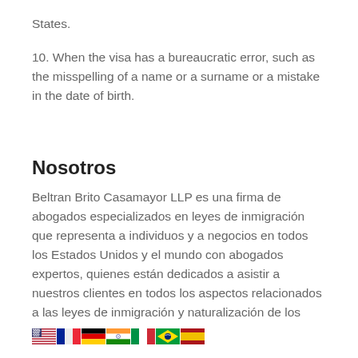States.
10. When the visa has a bureaucratic error, such as the misspelling of a name or a surname or a mistake in the date of birth.
Nosotros
Beltran Brito Casamayor LLP es una firma de abogados especializados en leyes de inmigración que representa a individuos y a negocios en todos los Estados Unidos y el mundo con abogados expertos, quienes están dedicados a asistir a nuestros clientes en todos los aspectos relacionados a las leyes de inmigración y naturalización de los
[Figure (illustration): Row of country flag icons: USA, France, Germany, India, Italy, Brazil, Spain]